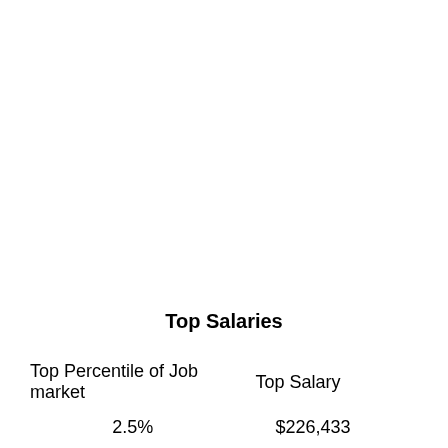Top Salaries
| Top Percentile of Job market | Top Salary |
| --- | --- |
| 2.5% | $226,433 |
| 5% | $216,175 |